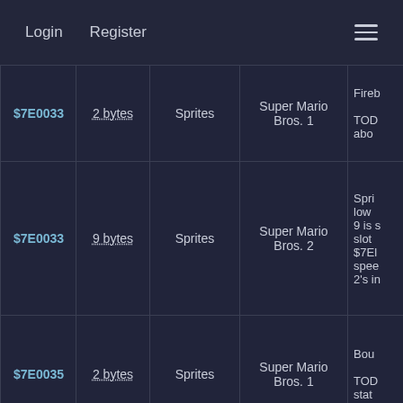Login  Register  ☰
| Address | Size | Category | Game | Notes |
| --- | --- | --- | --- | --- |
| $7E0033 | 2 bytes | Sprites | Super Mario Bros. 1 | Fireb… TOD… abo… |
| $7E0033 | 9 bytes | Sprites | Super Mario Bros. 2 | Spri… low… 9 is s… slot… $7El… spee… 2's in… |
| $7E0035 | 2 bytes | Sprites | Super Mario Bros. 1 | Bou… TOD… stat… |
| $7E003C | 1 byte | Speed | Super Mario Bros. 2 | Spee… bon… ima… for p… |
| $7E003D | 9 bytes | Sprites | Super Mario… | Spri… tabl… use… |